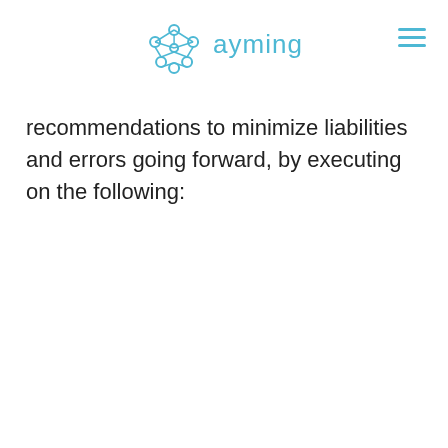ayming
recommendations to minimize liabilities and errors going forward, by executing on the following: